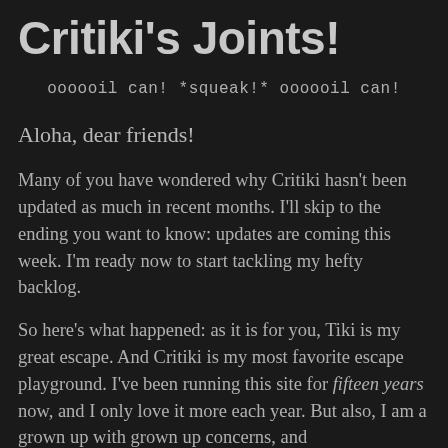Critiki's Joints!
oooooil can! *squeak!* oooooil can!
Aloha, dear friends!
Many of you have wondered why Critiki hasn't been updated as much in recent months. I'll skip to the ending you want to know: updates are coming this week. I'm ready now to start tackling my hefty backlog.
So here's what happened: as it is for you, Tiki is my great escape. And Critiki is my most favorite escape playground. I've been running this site for fifteen years now, and I only love it more each year. But also, I am a grown up with grown up concerns, and